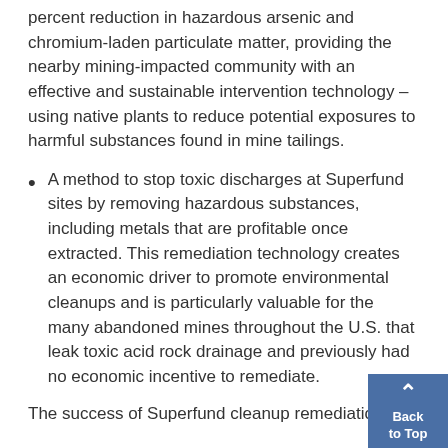percent reduction in hazardous arsenic and chromium-laden particulate matter, providing the nearby mining-impacted community with an effective and sustainable intervention technology – using native plants to reduce potential exposures to harmful substances found in mine tailings.
A method to stop toxic discharges at Superfund sites by removing hazardous substances, including metals that are profitable once extracted. This remediation technology creates an economic driver to promote environmental cleanups and is particularly valuable for the many abandoned mines throughout the U.S. that leak toxic acid rock drainage and previously had no economic incentive to remediate.
The success of Superfund cleanup remediation...